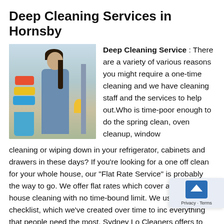Deep Cleaning Services in Hornsby
[Figure (photo): Woman seen from behind holding cleaning supplies including a mop, with colorful cloths and a bucket, standing in a room.]
Deep Cleaning Service : There are a variety of various reasons you might require a one-time cleaning and we have cleaning staff and the services to help out.Who is time-poor enough to do the spring clean, oven cleanup, window cleaning or wiping down in your refrigerator, cabinets and drawers in these days? If you're looking for a one off clean for your whole house, our “Flat Rate Service” is probably the way to go. We offer flat rates which cover all the general house cleaning with no time-bound limit. We use our checklist, which we've created over time to include everything that people need the most. Sydney Local Cleaners offers to thoroughly clean your home which is to